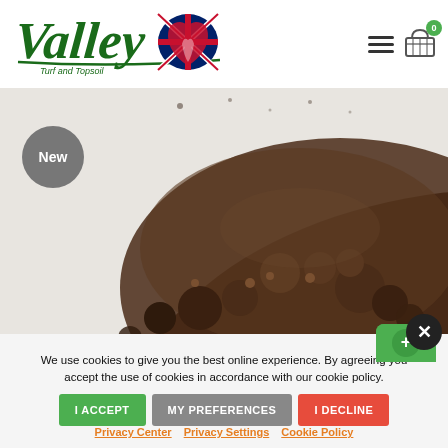[Figure (logo): Valley Turf and Topsoil logo with UK flag, hamburger menu icon, and shopping cart icon with badge 0]
[Figure (photo): Pile of dark topsoil/compost on white background with a grey 'New' badge overlay and a green button at bottom right]
We use cookies to give you the best online experience. By agreeing you accept the use of cookies in accordance with our cookie policy.
I ACCEPT
MY PREFERENCES
I DECLINE
Privacy Center   Privacy Settings   Cookie Policy